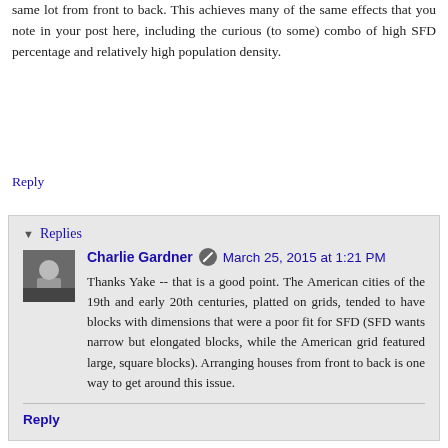same lot from front to back. This achieves many of the same effects that you note in your post here, including the curious (to some) combo of high SFD percentage and relatively high population density.
Reply
Replies
Charlie Gardner  March 25, 2015 at 1:21 PM
Thanks Yake -- that is a good point. The American cities of the 19th and early 20th centuries, platted on grids, tended to have blocks with dimensions that were a poor fit for SFD (SFD wants narrow but elongated blocks, while the American grid featured large, square blocks). Arranging houses from front to back is one way to get around this issue.
Reply